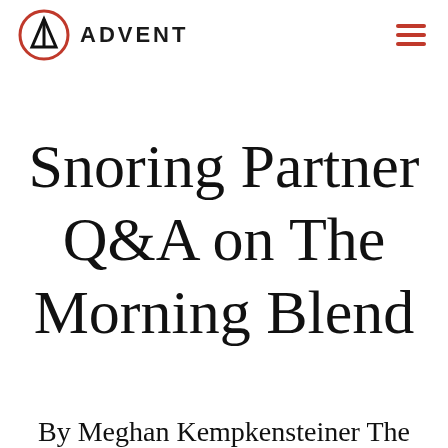ADVENT
Snoring Partner Q&A on The Morning Blend
By Meghan Kempkensteiner The